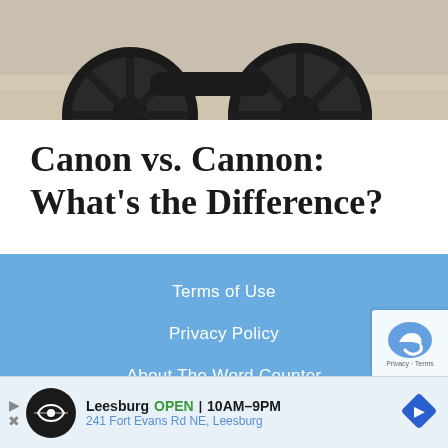[Figure (photo): Close-up photo of dark cannon wheels on a stone/concrete surface, showing two large black wheels at the bottom of the frame]
Canon vs. Cannon: What’s the Difference?
Terms of Use
Privacy Policy
About The Word Counter
[Figure (other): Advertisement bar: Leesburg OPEN 10AM-9PM, 241 Fort Evans Rd NE, Leesburg with logo and map pin icon]
[Figure (other): reCAPTCHA badge in the bottom right corner]